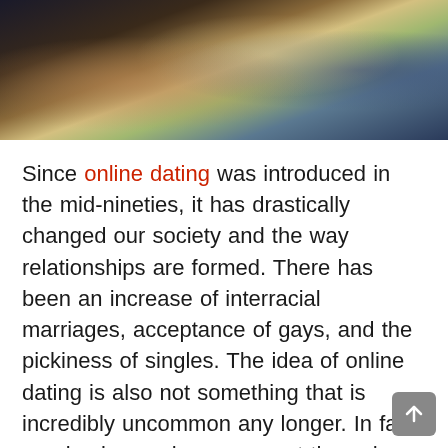[Figure (photo): Partial photo of two people close together outdoors, heads bowed, with bokeh background of greenery and light]
Since online dating was introduced in the mid-nineties, it has drastically changed our society and the way relationships are formed. There has been an increase of interracial marriages, acceptance of gays, and the pickiness of singles. The idea of online dating is also not something that is incredibly uncommon any longer. In fact, one in six couples now meet through online dating. A lot of people turn to online dating because finding people that are looking for serious relationships is becoming more and more difficult. Many describe their frustrating experiences with meeting people at clubs and bars who are just